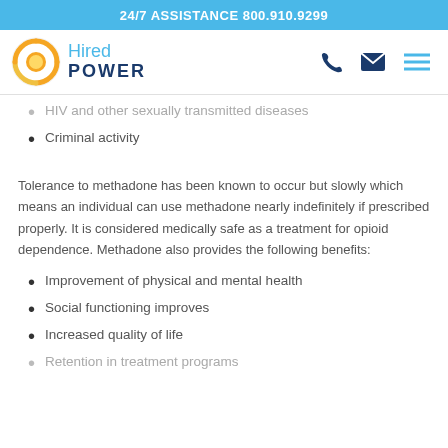24/7 ASSISTANCE 800.910.9299
[Figure (logo): Hired Power logo with circular orange/gold sun graphic and blue text 'Hired POWER']
HIV and other sexually transmitted diseases
Criminal activity
Tolerance to methadone has been known to occur but slowly which means an individual can use methadone nearly indefinitely if prescribed properly. It is considered medically safe as a treatment for opioid dependence. Methadone also provides the following benefits:
Improvement of physical and mental health
Social functioning improves
Increased quality of life
Retention in treatment programs